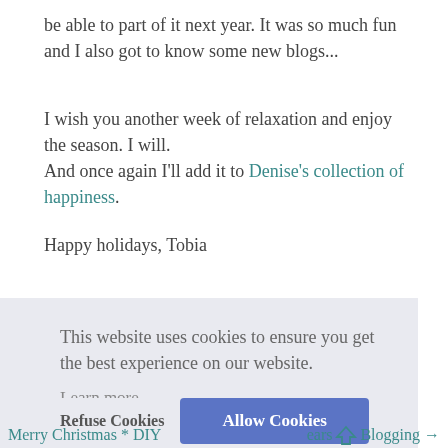be able to part of it next year. It was so much fun and I also got to know some new blogs...
I wish you another week of relaxation and enjoy the season. I will.
And once again I'll add it to Denise's collection of happiness.
Happy holidays, Tobia
This website uses cookies to ensure you get the best experience on our website.
Learn more
Refuse Cookies
Allow Cookies
Merry Christmas * DIY ... Blogging →